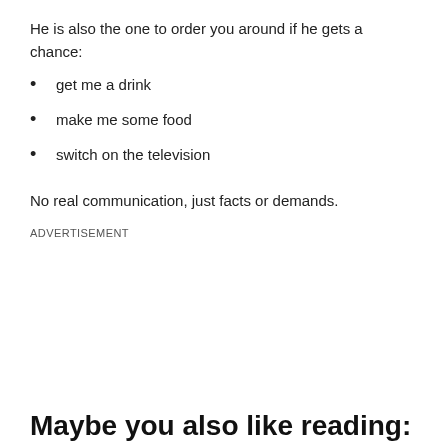He is also the one to order you around if he gets a chance:
get me a drink
make me some food
switch on the television
No real communication, just facts or demands.
ADVERTISEMENT
Maybe you also like reading:
[Figure (photo): A horizontal strip of photos showing people in various scenes]